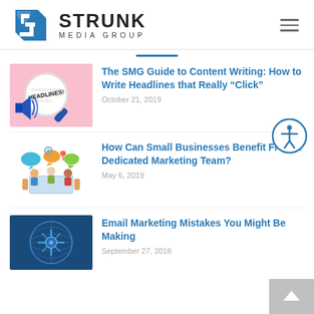STRUNK MEDIA GROUP
[Figure (logo): Strunk Media Group logo with blue geometric S-M icon and bold text]
The SMG Guide to Content Writing: How to Write Headlines that Really “Click”
October 21, 2019
[Figure (illustration): Image of a magnifying glass magnifying the word HEADLINES! on paper with a megaphone]
How Can Small Businesses Benefit From a Dedicated Marketing Team?
May 6, 2019
[Figure (illustration): Colorful illustration of a small business team around a table with social media icons]
Email Marketing Mistakes You Might Be Making
September 27, 2018
[Figure (illustration): Blue-toned digital globe/email marketing illustration]